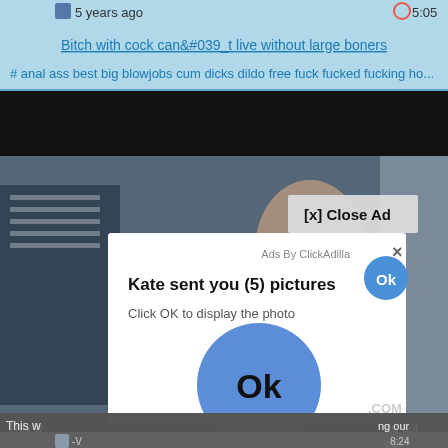[Figure (screenshot): Screenshot of an adult video website with an overlay ad popup. The background shows a video player with a woman visible, partially obscured by a white popup ad modal. The popup reads 'Ads By ClickAdilla' with an X close button, 'Kate sent you (5) pictures', 'Click OK to display the photo', an Ok button (small, blue circle top right), and a large blue circle with 'Ok' text. A '[x] Close Ad' button appears on the video. The page header shows '5 years ago', '5:05', a title with hashtags including anal, ass, best, big, blowjobs, cum, dicks, dildo, free, fuck, fucked, fucking, ho...]